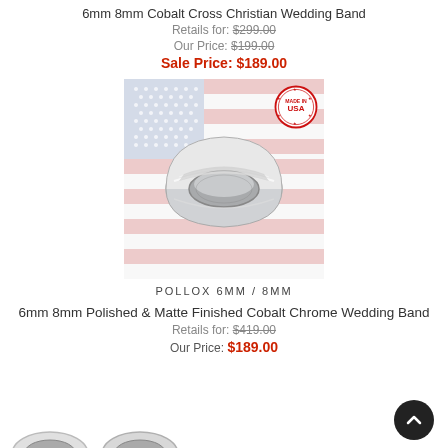6mm 8mm Cobalt Cross Christian Wedding Band
Retails for: $299.00
Our Price: $199.00
Sale Price: $189.00
[Figure (photo): Silver cobalt chrome wedding band ring displayed against an American flag background with 'Made in USA' badge stamp in top right corner. Label reads POLLOX 6MM / 8MM.]
POLLOX 6MM / 8MM
6mm 8mm Polished & Matte Finished Cobalt Chrome Wedding Band
Retails for: $419.00
Our Price: $189.00